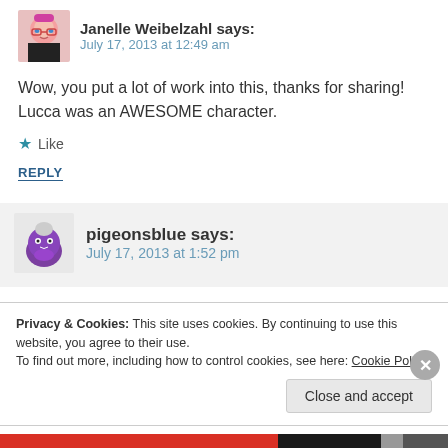Janelle Weibelzahl says:
July 17, 2013 at 12:49 am
Wow, you put a lot of work into this, thanks for sharing! Lucca was an AWESOME character.
★ Like
REPLY
pigeonsblue says:
July 17, 2013 at 1:52 pm
Privacy & Cookies: This site uses cookies. By continuing to use this website, you agree to their use.
To find out more, including how to control cookies, see here: Cookie Policy
Close and accept